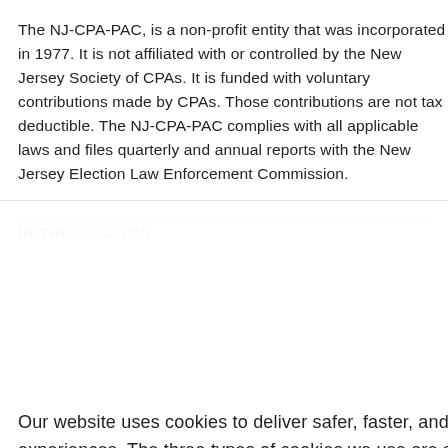The NJ-CPA-PAC, is a non-profit entity that was incorporated in 1977. It is not affiliated with or controlled by the New Jersey Society of CPAs. It is funded with voluntary contributions made by CPAs. Those contributions are not tax deductible. The NJ-CPA-PAC complies with all applicable laws and files quarterly and annual reports with the New Jersey Election Law Enforcement Commission.
IN THIS SECTION
Our website uses cookies to deliver safer, faster, and more customized site experiences. The three types of cookies we use are strictly necessary, analytics and performance, and advertising. Please accept the use of cookies or review our cookie policy.